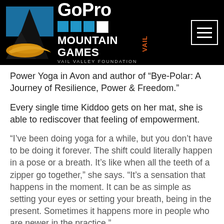[Figure (logo): GoPro Mountain Games Vail Valley Foundation logo with mountain silhouette graphic on black background header bar with hamburger menu icon]
Power Yoga in Avon and author of “Bye-Polar: A Journey of Resilience, Power & Freedom.”
Every single time Kiddoo gets on her mat, she is able to rediscover that feeling of empowerment.
“I’ve been doing yoga for a while, but you don’t have to be doing it forever. The shift could literally happen in a pose or a breath. It’s like when all the teeth of a zipper go together,” she says. “It’s a sensation that happens in the moment. It can be as simple as setting your eyes or setting your breath, being in the present. Sometimes it happens more in people who are newer in the practice.”